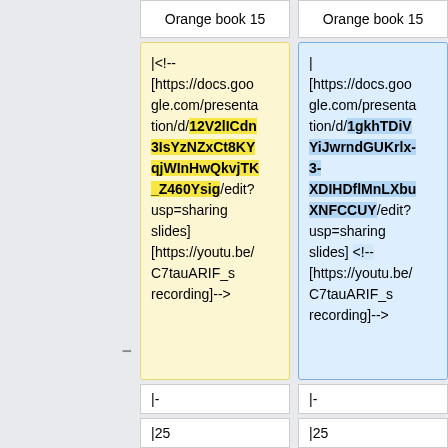| Orange book 15 | Orange book 15 |
| --- | --- |
| <!--
[https://docs.google.com/presentation/d/12V2lICdn3IsYzNZxCt8KYqjWInHwQkvjTK_Z460Ysig/edit?usp=sharing slides]
[https://youtu.be/C7tauARIF_s recording]--> | |
[https://docs.google.com/presentation/d/1gkhTDiVYiJwrndGUKrlx-3-XDIHDflMnLXbuXNFCCUY/edit?usp=sharing slides] <!--
[https://youtu.be/C7tauARIF_s recording]--> |
| |- | |- |
| |25 | |25 |
| |May 12 | |style="background:rgb(244, 244, 0)"|May 12
[ONLINE, NOT |